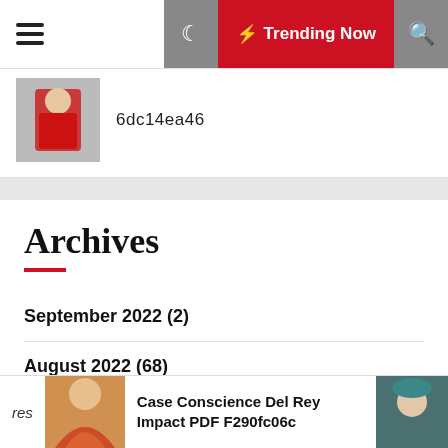Trending Now
[Figure (photo): Small thumbnail image of a person in red clothing]
6dc14ea46
Archives
September 2022 (2)
August 2022 (68)
July 2022 (50)
June 2022 (55)
Case Conscience Del Rey Impact PDF F290fc06c
[Figure (photo): Person in orange/red dress at bottom]
[Figure (photo): Person with teal hat at bottom right]